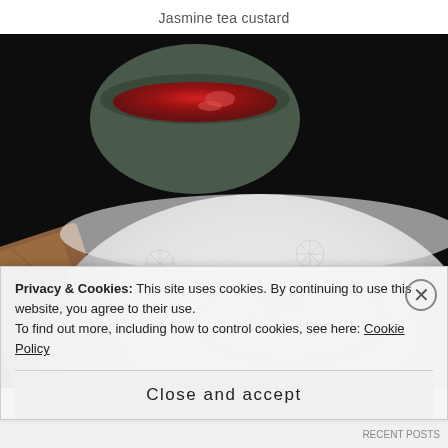Jasmine tea custard
[Figure (photo): A white floral-patterned bowl containing jasmine tea custard with pink granular topping, with a small cup of red/amber tea visible in the dark background, and a wooden surface partially visible.]
Privacy & Cookies: This site uses cookies. By continuing to use this website, you agree to their use.
To find out more, including how to control cookies, see here: Cookie Policy
Close and accept